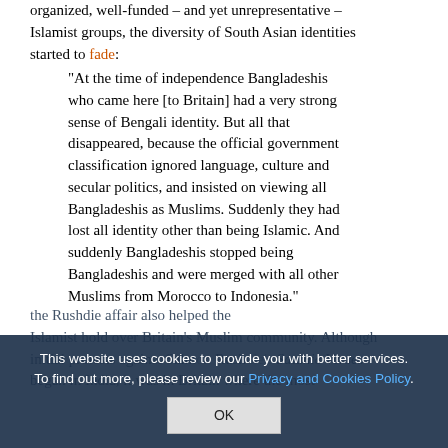organized, well-funded – and yet unrepresentative – Islamist groups, the diversity of South Asian identities started to fade:
"At the time of independence Bangladeshis who came here [to Britain] had a very strong sense of Bengali identity. But all that disappeared, because the official government classification ignored language, culture and secular politics, and insisted on viewing all Bangladeshis as Muslims. Suddenly they had lost all identity other than being Islamic. And suddenly Bangladeshis stopped being Bangladeshis and were merged with all other Muslims from Morocco to Indonesia."
the Rushdie affair also helped the Islamist hold over Britain's Muslim community. Although initial protests against Salman Rushdie's Satanic Verses began in India, it was in Britain where the most
This website uses cookies to provide you with better services. To find out more, please review our Privacy and Cookies Policy.
OK